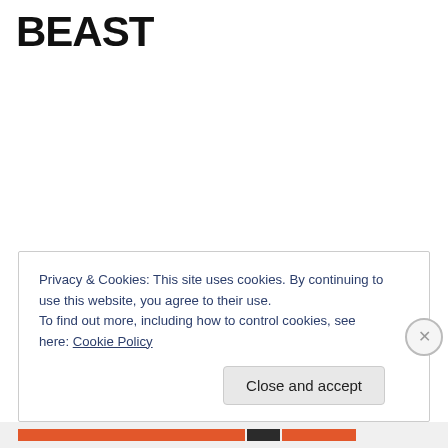BEAST
Privacy & Cookies: This site uses cookies. By continuing to use this website, you agree to their use.
To find out more, including how to control cookies, see here: Cookie Policy
Close and accept